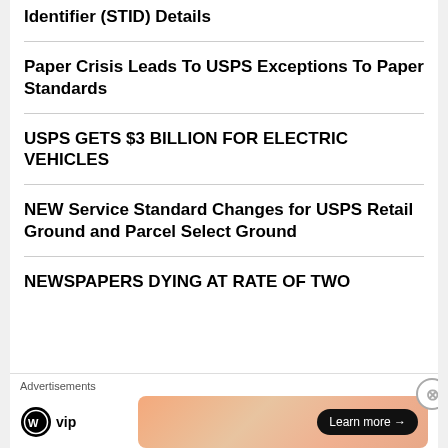Identifier (STID) Details
Paper Crisis Leads To USPS Exceptions To Paper Standards
USPS GETS $3 BILLION FOR ELECTRIC VEHICLES
NEW Service Standard Changes for USPS Retail Ground and Parcel Select Ground
NEWSPAPERS DYING AT RATE OF TWO
[Figure (screenshot): Advertisement bar with WordPress VIP logo and a colorful banner ad with 'Learn more' button]